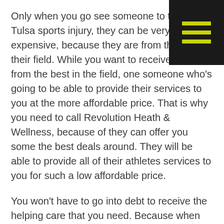[Figure (other): Dark hamburger menu button with three yellow-green horizontal lines, positioned in the top-right corner]
Only when you go see someone to treat your Tulsa sports injury, they can be very expensive, because they are from the best in their field. While you want to receive help from the best in the field, one someone who's going to be able to provide their services to you at the more affordable price. That is why you need to call Revolution Heath & Wellness, because of they can offer you some the best deals around. They will be able to provide all of their athletes services to you for such a low affordable price.
You won't have to go into debt to receive the helping care that you need. Because when you come to Revolution Heath & Wellness, your can be experiencing some amazing services. Because there been a problem and beyond all of your expectations make sure that your body heals properly and quickly. Because of athletes whether they are immature, or professional, if they do not take care of their body